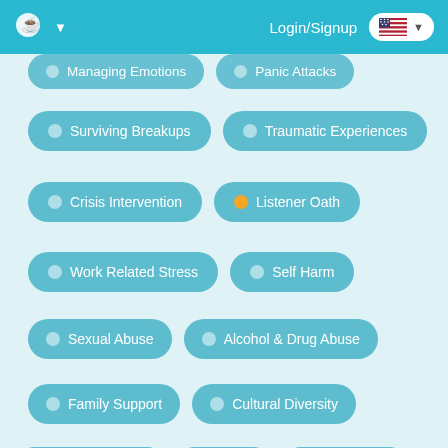Login/Signup
Managing Emotions
Panic Attacks
Surviving Breakups
Traumatic Experiences
Crisis Intervention
Listener Oath
Work Related Stress
Self Harm
Sexual Abuse
Alcohol & Drug Abuse
Family Support
Cultural Diversity
Verified Listener
Bullying
Chronic Pain
Psychological First Aid
Family Stress